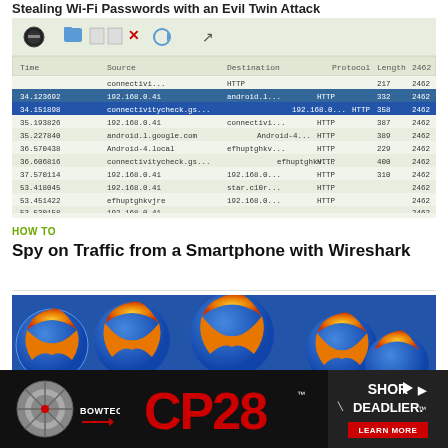Stealing Wi-Fi Passwords with an Evil Twin Attack
[Figure (screenshot): Wireshark network traffic capture showing HTTP packets with source/destination IP addresses including 192.168.0.41, android.l.google.com, connectivitycheck.gs, Android-4.local, efhuptghkvjre, 192.168.0.41, star.c10r.facebook.c at various timestamps (34.123692, 34.151898, 35.193826, 35.227840, 36.570438, 36.606816, 37.570114, 53.418045, 53.451422, 53.530158, 164.127308)]
HOW TO
Spy on Traffic from a Smartphone with Wireshark
[Figure (screenshot): Multiple Firefox browser logo icons (orange and blue fox/globe) arranged as a collage]
[Figure (photo): Advertisement for Bowtech CP28 bow - showing CP28 logo in red text, SHOR DEADLIER text on right, LEARN MORE button, Bowtech logo on left]